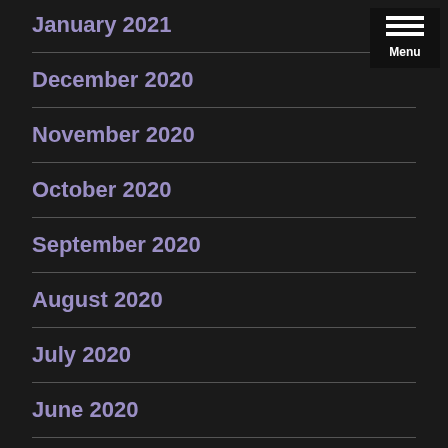January 2021
December 2020
November 2020
October 2020
September 2020
August 2020
July 2020
June 2020